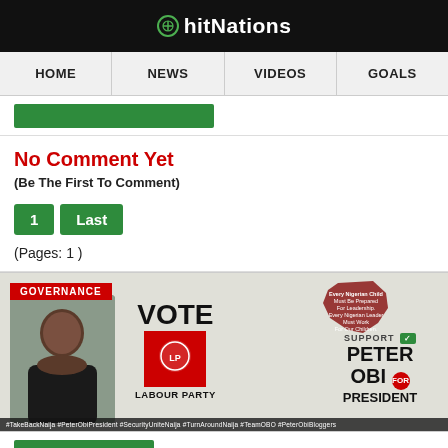hitNations
HOME | NEWS | VIDEOS | GOALS
[Figure (screenshot): Green button/bar element partially visible]
No Comment Yet
(Be The First To Comment)
1  Last
(Pages: 1 )
[Figure (infographic): Political ad banner: GOVERNANCE label, photo of Peter Obi, VOTE LABOUR PARTY logo, SUPPORT PETER OBI FOR PRESIDENT text, Nigeria map shape, hashtags: #TakeBackNaija #PeterObiPresident #SecurityUniteNaija #TurnAroundNaija #TeamOBO #PeterObiBloggers]
[Figure (other): Partial green button at bottom]